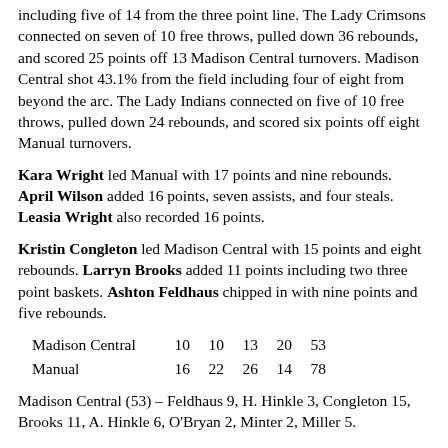including five of 14 from the three point line.  The Lady Crimsons connected on seven of 10 free throws, pulled down 36 rebounds, and scored 25 points off 13 Madison Central turnovers.  Madison Central shot 43.1% from the field including four of eight from beyond the arc. The Lady Indians connected on five of 10 free throws, pulled down 24 rebounds, and scored six points off eight Manual turnovers.
Kara Wright led Manual with 17 points and nine rebounds.  April Wilson added 16 points, seven assists, and four steals.  Leasia Wright also recorded 16 points.
Kristin Congleton led Madison Central with 15 points and eight rebounds.  Larryn Brooks added 11 points including two three point baskets.  Ashton Feldhaus chipped in with nine points and five rebounds.
| Team | Q1 | Q2 | Q3 | Q4 | Total |
| --- | --- | --- | --- | --- | --- |
| Madison Central | 10 | 10 | 13 | 20 | 53 |
| Manual | 16 | 22 | 26 | 14 | 78 |
Madison Central (53) – Feldhaus 9, H. Hinkle 3, Congleton 15, Brooks 11, A. Hinkle 6, O'Bryan 2, Minter 2, Miller 5.
Manual (78) – K. Wright 17, Bodine 4, Styles 2, L. Wright 16, Wilson 16, D. Curry 8, Mitchell 9, Allen 6.